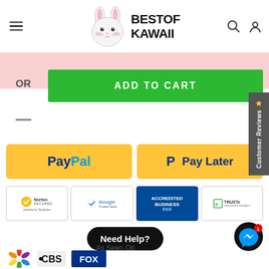[Figure (logo): Best of Kawaii logo with cute bunny illustration and bold text BESTOF KAWAII]
[Figure (screenshot): Pink promotional banner background]
OR
[Figure (screenshot): Green ADD TO CART button]
[Figure (screenshot): Customer Reviews vertical tab on right side]
[Figure (screenshot): PayPal payment button (yellow background with PayPal logo)]
[Figure (screenshot): Pay Later button (yellow background with PayPal P logo and Pay Later text)]
[Figure (screenshot): Norton Secured powered by Symantec trust badge]
[Figure (screenshot): Google Trusted Store trust badge]
[Figure (screenshot): BBB Accredited Business trust badge]
[Figure (screenshot): TRUSTe Certified Privacy trust badge]
Need Help?
As Seen On
[Figure (screenshot): NBC peacock logo, CBS logo, Fox News logo media appearance badges]